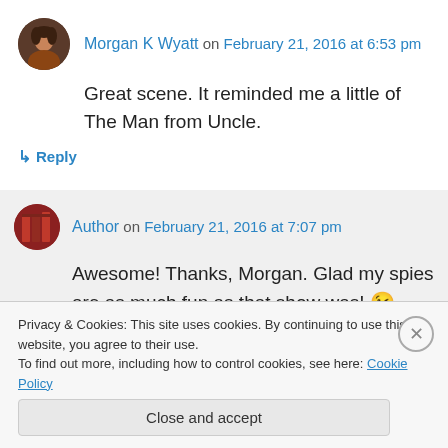[Figure (photo): Round avatar of Morgan K Wyatt, a person with dark hair]
Morgan K Wyatt on February 21, 2016 at 6:53 pm
Great scene. It reminded me a little of The Man from Uncle.
↳ Reply
[Figure (photo): Round avatar of Author, showing red/orange books or similar pattern]
Author on February 21, 2016 at 7:07 pm
Awesome! Thanks, Morgan. Glad my spies are as much fun as that show was! 😉
Privacy & Cookies: This site uses cookies. By continuing to use this website, you agree to their use.
To find out more, including how to control cookies, see here: Cookie Policy
Close and accept